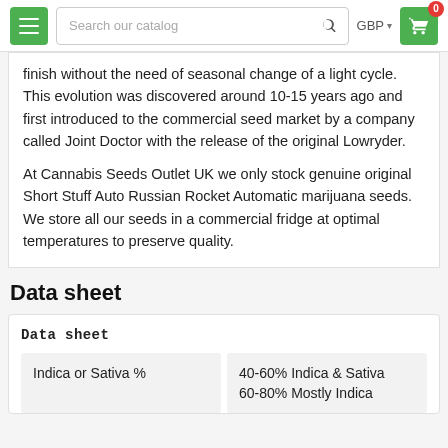Search our catalog | GBP | Cart (0)
finish without the need of seasonal change of a light cycle. This evolution was discovered around 10-15 years ago and first introduced to the commercial seed market by a company called Joint Doctor with the release of the original Lowryder.

At Cannabis Seeds Outlet UK we only stock genuine original Short Stuff Auto Russian Rocket Automatic marijuana seeds. We store all our seeds in a commercial fridge at optimal temperatures to preserve quality.
Data sheet
| Indica or Sativa % | 40-60% Indica & Sativa 60-80% Mostly Indica |
| --- | --- |